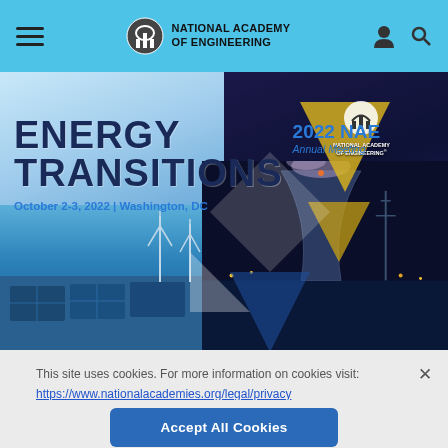National Academy of Engineering
[Figure (illustration): 2022 NAE Annual Meeting banner: 'ENERGY TRANSITIONS' with October 2-3, 2022 | Washington, DC. Background shows wind turbines, solar panels, and a nuclear cooling tower with geometric triangle overlays in gold and blue.]
This site uses cookies. For more information on cookies visit: https://www.nationalacademies.org/legal/privacy
Accept All Cookies